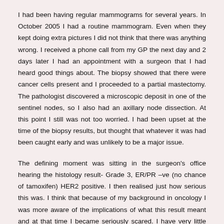I had been having regular mammograms for several years. In October 2005 I had a routine mammogram. Even when they kept doing extra pictures I did not think that there was anything wrong. I received a phone call from my GP the next day and 2 days later I had an appointment with a surgeon that I had heard good things about. The biopsy showed that there were cancer cells present and I proceeded to a partial mastectomy. The pathologist discovered a microscopic deposit in one of the sentinel nodes, so I also had an axillary node dissection. At this point I still was not too worried. I had been upset at the time of the biopsy results, but thought that whatever it was had been caught early and was unlikely to be a major issue.
The defining moment was sitting in the surgeon's office hearing the histology result- Grade 3, ER/PR –ve (no chance of tamoxifen) HER2 positive. I then realised just how serious this was. I think that because of my background in oncology I was more aware of the implications of what this result meant and at that time I became seriously scared. I have very little recall of that time other than sitting out on our deck high up in the